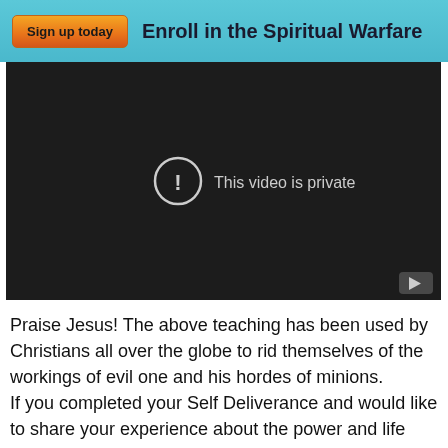Sign up today   Enroll in the Spiritual Warfare
[Figure (screenshot): A video player showing 'This video is private' message with a warning icon circle and a YouTube play button in the bottom right corner, on a dark/black background.]
Praise Jesus! The above teaching has been used by Christians all over the globe to rid themselves of the workings of evil one and his hordes of minions.
If you completed your Self Deliverance and would like to share your experience about the power and life changing authority of God, please write the